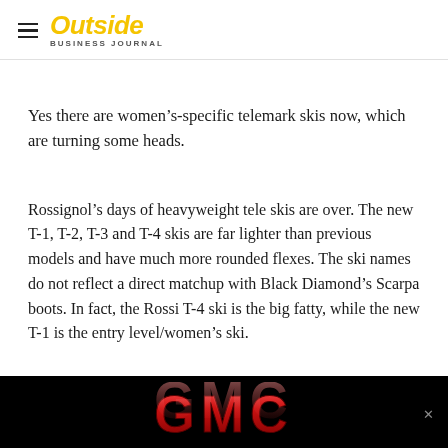Outside Business Journal
Yes there are women’s-specific telemark skis now, which are turning some heads.
Rossignol’s days of heavyweight tele skis are over. The new T-1, T-2, T-3 and T-4 skis are far lighter than previous models and have much more rounded flexes. The ski names do not reflect a direct matchup with Black Diamond’s Scarpa boots. In fact, the Rossi T-4 ski is the big fatty, while the new T-1 is the entry level/women’s ski.
[Figure (logo): GMC advertisement banner with red metallic GMC logo on black background]